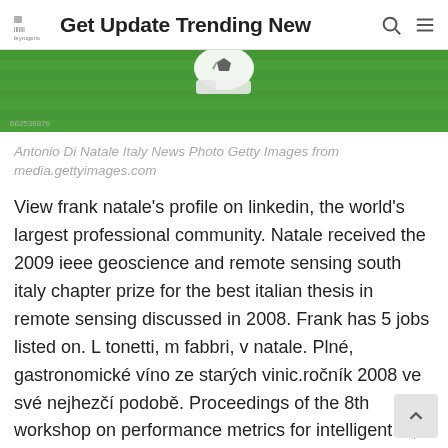Get Update Trending New
[Figure (photo): Soccer ball and grass field photo strip with watermark 662536876]
Antonio Di Natale Italy News Photo Getty Images from media.gettyimages.com
View frank natale's profile on linkedin, the world's largest professional community. Natale received the 2009 ieee geoscience and remote sensing south italy chapter prize for the best italian thesis in remote sensing discussed in 2008. Frank has 5 jobs listed on. L tonetti, m fabbri, v natale. Plné, gastronomické víno ze starých vinic.ročník 2008 ve své nejhezčí podobě. Proceedings of the 8th workshop on performance metrics for intelligent ..., 2008. Natale received the phd degree from scuola superiore santanna and was a visiting researcher with the university of california